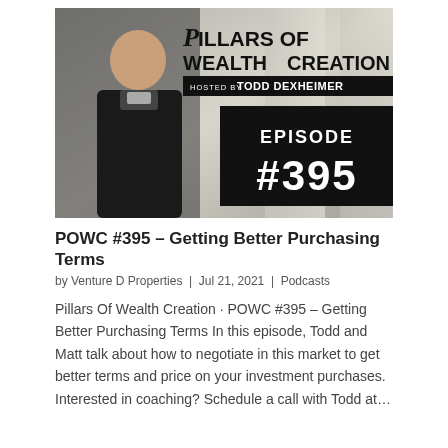[Figure (other): Podcast thumbnail for Pillars of Wealth Creation Episode #395, showing host Todd Dexheimer with show title and episode number on a stylized background.]
POWC #395 – Getting Better Purchasing Terms
by Venture D Properties | Jul 21, 2021 | Podcasts
Pillars Of Wealth Creation · POWC #395 – Getting Better Purchasing Terms In this episode, Todd and Matt talk about how to negotiate in this market to get better terms and price on your investment purchases. Interested in coaching? Schedule a call with Todd at…